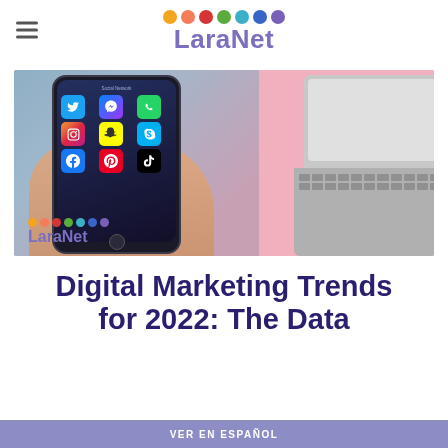LaraNet
[Figure (photo): Hand holding a smartphone displaying social media app icons (Twitter, Instagram, Facebook, TikTok, Snapchat, Pinterest, Messenger, WhatsApp, Skype), with a laptop visible in the background on a pink surface. LaraNet logo overlay at bottom left of image.]
Digital Marketing Trends for 2022: The Data
VER EN ESPAÑOL